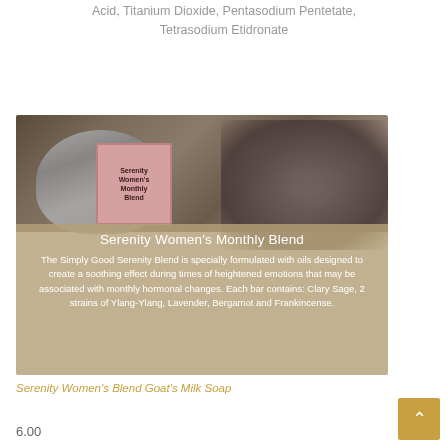Acid, Titanium Dioxide, Pentasodium Pentetate, Tetrasodium Etidronate
[Figure (photo): Product photo of Serenity Women's Monthly Blend Goat's Milk Soap bar in a pink box, set against a rustic background with metal and rope props. Overlay text describes the product.]
Serenity Women's Monthly Blend
The Simply Good Serenity Blend is specially formulated with oils designed to create a soothing effect during times of heightened emotions that may be associated with monthly hormonal changes. Each bar contains: Clary Sage, 2 strains of Ylang-Ylang, Lavender, Bergamot and Frankincense.
Serenity Women's Blend Goat's Milk Soap
6.00